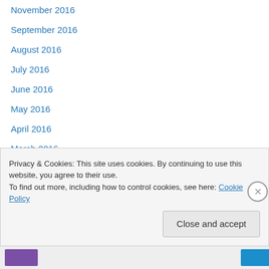November 2016
September 2016
August 2016
July 2016
June 2016
May 2016
April 2016
March 2016
February 2016
January 2016
December 2015
August 2015
June 2015
Privacy & Cookies: This site uses cookies. By continuing to use this website, you agree to their use.
To find out more, including how to control cookies, see here: Cookie Policy
Close and accept